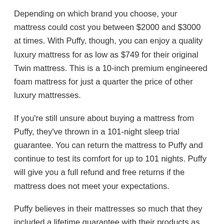Depending on which brand you choose, your mattress could cost you between $2000 and $3000 at times. With Puffy, though, you can enjoy a quality luxury mattress for as low as $749 for their original Twin mattress. This is a 10-inch premium engineered foam mattress for just a quarter the price of other luxury mattresses.
If you're still unsure about buying a mattress from Puffy, they've thrown in a 101-night sleep trial guarantee. You can return the mattress to Puffy and continue to test its comfort for up to 101 nights. Puffy will give you a full refund and free returns if the mattress does not meet your expectations.
Puffy believes in their mattresses so much that they included a lifetime guarantee with their products as well. Puffy will fix any problem with your mattress.
Although it can be difficult to find the right size Puffy mattress for you, a twin mattress might work well for you if you are single and